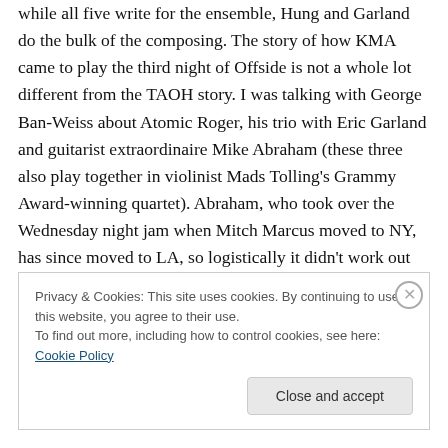while all five write for the ensemble, Hung and Garland do the bulk of the composing. The story of how KMA came to play the third night of Offside is not a whole lot different from the TAOH story. I was talking with George Ban-Weiss about Atomic Roger, his trio with Eric Garland and guitarist extraordinaire Mike Abraham (these three also play together in violinist Mads Tolling's Grammy Award-winning quartet). Abraham, who took over the Wednesday night jam when Mitch Marcus moved to NY, has since moved to LA, so logistically it didn't work out for them to play the festival.
Privacy & Cookies: This site uses cookies. By continuing to use this website, you agree to their use.
To find out more, including how to control cookies, see here: Cookie Policy